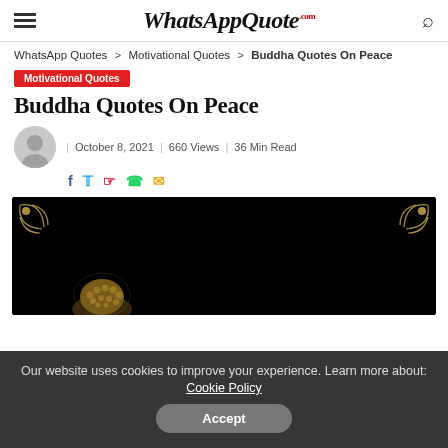WhatsAppQuote.com
WhatsApp Quotes > Motivational Quotes > Buddha Quotes On Peace
Motivational Quotes
Buddha Quotes On Peace
October 8, 2021 | 660 Views | 36 Min Read
[Figure (photo): Dark hero image with a golden Buddha head statue partially visible at bottom-left against a black background with decorative corner flourishes]
Our website uses cookies to improve your experience. Learn more about: Cookie Policy
Accept